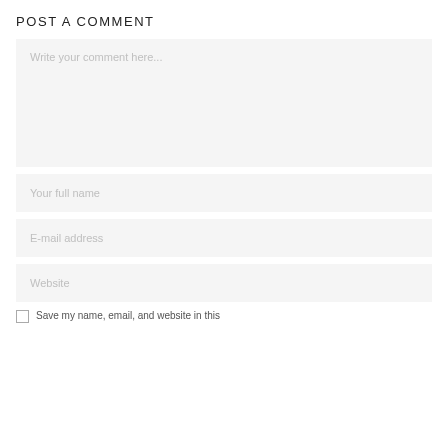POST A COMMENT
Write your comment here...
Your full name
E-mail address
Website
Save my name, email, and website in this